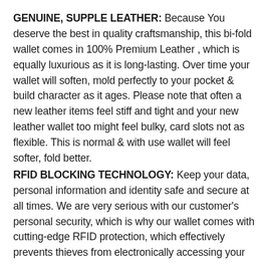GENUINE, SUPPLE LEATHER: Because You deserve the best in quality craftsmanship, this bi-fold wallet comes in 100% Premium Leather , which is equally luxurious as it is long-lasting. Over time your wallet will soften, mold perfectly to your pocket & build character as it ages. Please note that often a new leather items feel stiff and tight and your new leather wallet too might feel bulky, card slots not as flexible. This is normal & with use wallet will feel softer, fold better.
RFID BLOCKING TECHNOLOGY: Keep your data, personal information and identity safe and secure at all times. We are very serious with our customer's personal security, which is why our wallet comes with cutting-edge RFID protection, which effectively prevents thieves from electronically accessing your